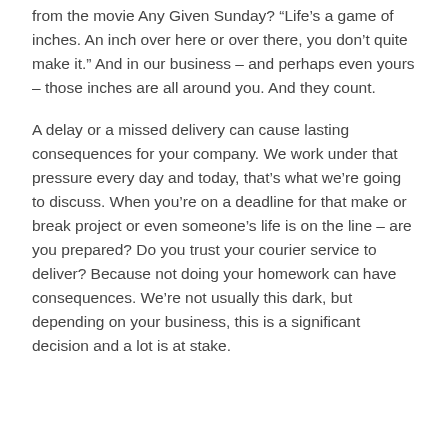from the movie Any Given Sunday? “Life’s a game of inches. An inch over here or over there, you don’t quite make it.” And in our business – and perhaps even yours – those inches are all around you. And they count.
A delay or a missed delivery can cause lasting consequences for your company. We work under that pressure every day and today, that’s what we’re going to discuss. When you’re on a deadline for that make or break project or even someone’s life is on the line – are you prepared? Do you trust your courier service to deliver? Because not doing your homework can have consequences. We’re not usually this dark, but depending on your business, this is a significant decision and a lot is at stake.